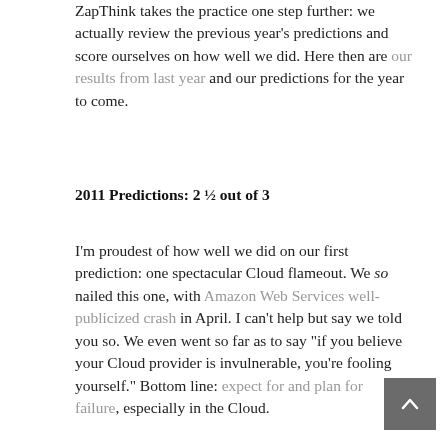ZapThink takes the practice one step further: we actually review the previous year's predictions and score ourselves on how well we did. Here then are our results from last year and our predictions for the year to come.
2011 Predictions: 2 ½ out of 3
I'm proudest of how well we did on our first prediction: one spectacular Cloud flameout. We so nailed this one, with Amazon Web Services well-publicized crash in April. I can't help but say we told you so. We even went so far as to say "if you believe your Cloud provider is invulnerable, you're fooling yourself." Bottom line: expect for and plan for failure, especially in the Cloud.